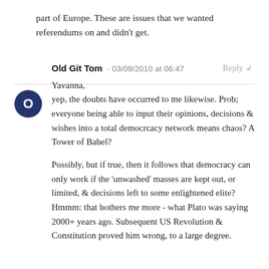part of Europe. These are issues that we wanted referendums on and didn't get.
Reply ↲
Old Git Tom - 03/09/2010 at 06:47
Yavanna,
yep, the doubts have occurred to me likewise. Prob; everyone being able to input their opinions, decisions & wishes into a total democrcacy network means chaos? A Tower of Babel?

Possibly, but if true, then it follows that democracy can only work if the 'unwashed' masses are kept out, or limited, & decisions left to some enlightened elite? Hmmm: that bothers me more - what Plato was saying 2000+ years ago. Subsequent US Revolution & Constitution proved him wrong, to a large degree.